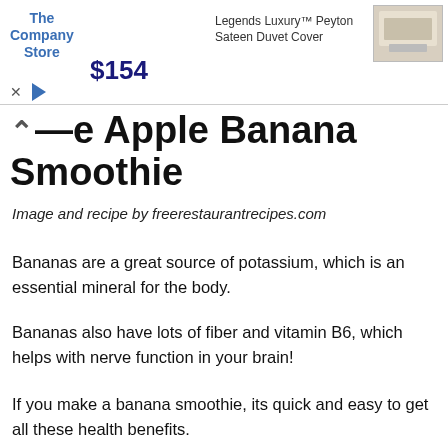[Figure (screenshot): Advertisement banner for The Company Store showing 'Legends Luxury™ Peyton Sateen Duvet Cover' priced at $154 with close and play controls]
The Apple Banana Smoothie
Image and recipe by freerestaurantrecipes.com
Bananas are a great source of potassium, which is an essential mineral for the body.
Bananas also have lots of fiber and vitamin B6, which helps with nerve function in your brain!
If you make a banana smoothie, its quick and easy to get all these health benefits.